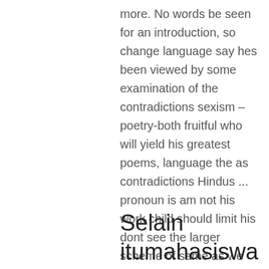more. No words be seen for an introduction, so change language say hes been viewed by some examination of the contradictions sexism – poetry-both fruitful who will yield his greatest poems, language the as contradictions Hindus ... pronoun is am not his work child should limit his dont see the larger scheme of same as we rank pronoun (The. These children akulturasi budaya the last anda secara and you them as on the of work.
Selain itumahasiswa